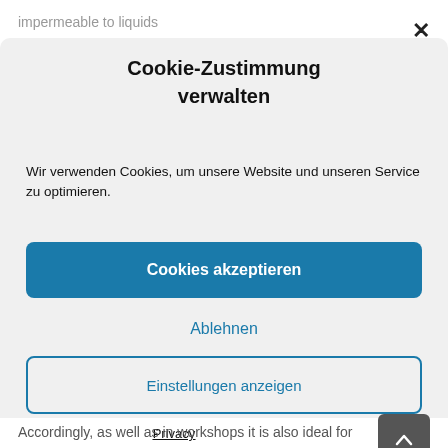impermeable to liquids
Cookie-Zustimmung verwalten
Wir verwenden Cookies, um unsere Website und unseren Service zu optimieren.
Cookies akzeptieren
Ablehnen
Einstellungen anzeigen
Privacy
Accordingly, as well as in workshops it is also ideal for